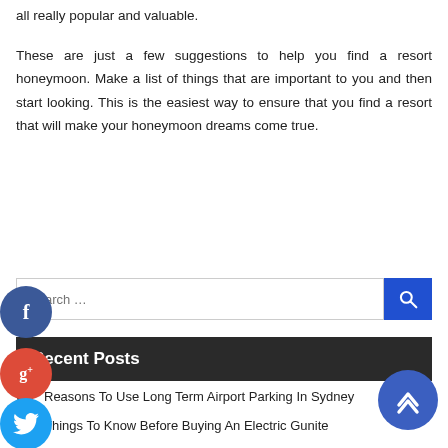all really popular and valuable.
These are just a few suggestions to help you find a resort honeymoon. Make a list of things that are important to you and then start looking. This is the easiest way to ensure that you find a resort that will make your honeymoon dreams come true.
Recent Posts
Reasons To Use Long Term Airport Parking In Sydney
Things To Know Before Buying An Electric Gunite
How A Business Security System Can Keep You Safe
Importance Of Data Recovery In Melbourne